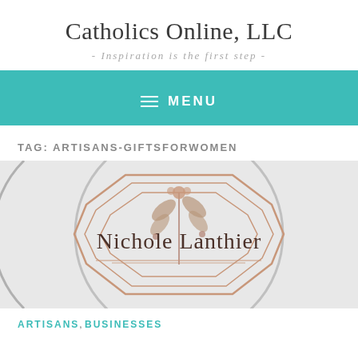Catholics Online, LLC
- Inspiration is the first step -
MENU
TAG: ARTISANS-GIFTSFORWOMEN
[Figure (logo): Nichole Lanthier brand logo with botanical illustration and geometric octagonal frame, on a grey circular background]
ARTISANS, BUSINESSES